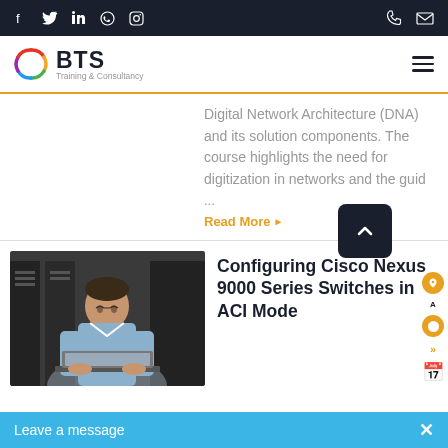BTS Training & Consultancy - social nav bar with facebook, twitter, linkedin, whatsapp, instagram, phone, email
[Figure (logo): BTS Training & Consultancy logo with colorful circular icon]
Digital Network Architecture (DNA) and its solution components. The course highlights the need for digitization in networks and the guid ...
Read More
[Figure (photo): Man in light blue shirt working on a laptop in a server room]
Configuring Cisco Nexus 9000 Series Switches in ACI Mode
Leave a message